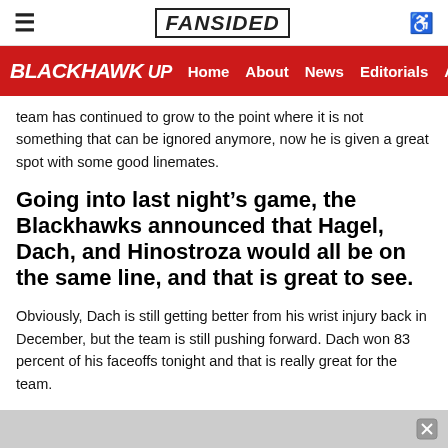FANSIDED
BLACKHAWK UP | Home | About | News | Editorials | An
team has continued to grow to the point where it is not something that can be ignored anymore, now he is given a great spot with some good linemates.
Going into last night’s game, the Blackhawks announced that Hagel, Dach, and Hinostroza would all be on the same line, and that is great to see.
Obviously, Dach is still getting better from his wrist injury back in December, but the team is still pushing forward. Dach won 83 percent of his faceoffs tonight and that is really great for the team.